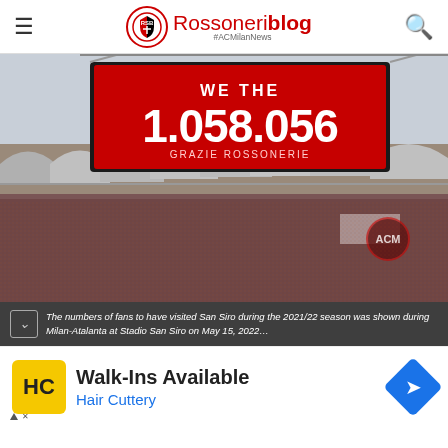Rossoneriblog #ACMilanNews
[Figure (photo): Stadium scoreboard at San Siro showing 'WE THE 1.058.056 GRAZIE ROSSONERIE' on a red LED display, with packed crowd stands visible below]
The numbers of fans to have visited San Siro during the 2021/22 season was shown during Milan-Atalanta at Stadio San Siro on May 15, 2022...
[Figure (other): Hair Cuttery advertisement banner: Walk-Ins Available, Hair Cuttery, with yellow HC logo and blue navigation icon]